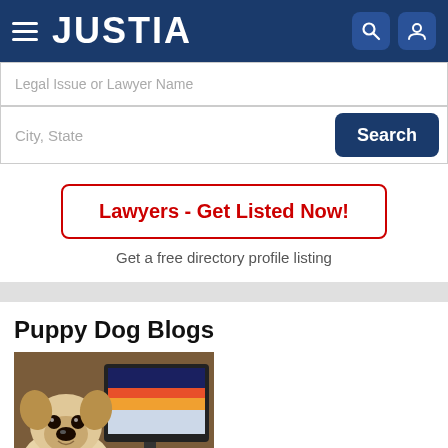JUSTIA
Legal Issue or Lawyer Name
City, State
Search
Lawyers - Get Listed Now!
Get a free directory profile listing
Puppy Dog Blogs
[Figure (photo): A pug dog standing in front of a computer monitor displaying a colorful image on screen, with a keyboard visible in the foreground.]